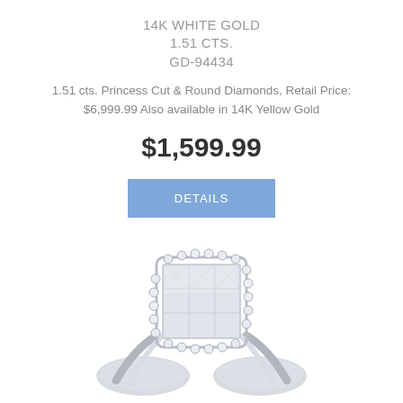14K WHITE GOLD
1.51 CTS.
GD-94434
1.51 cts. Princess Cut & Round Diamonds, Retail Price: $6,999.99 Also available in 14K Yellow Gold
$1,599.99
DETAILS
[Figure (photo): White gold diamond ring with princess cut and round diamonds in a square cluster halo setting on a twisted band, photographed on white background]